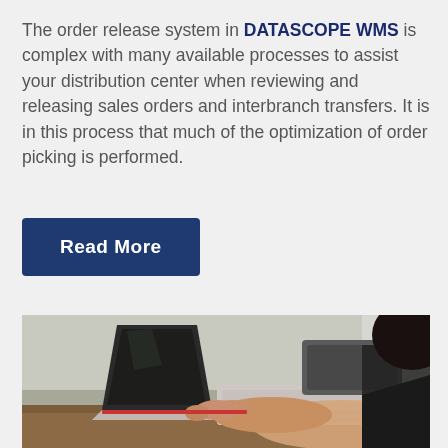The order release system in DATASCOPE WMS is complex with many available processes to assist your distribution center when reviewing and releasing sales orders and interbranch transfers. It is in this process that much of the optimization of order picking is performed.
Read More
[Figure (photo): Person working at a laptop on a wooden desk, viewed from the side. Dark hair visible, hands on keyboard/touchpad. A dark external hard drive or device is visible in the background.]